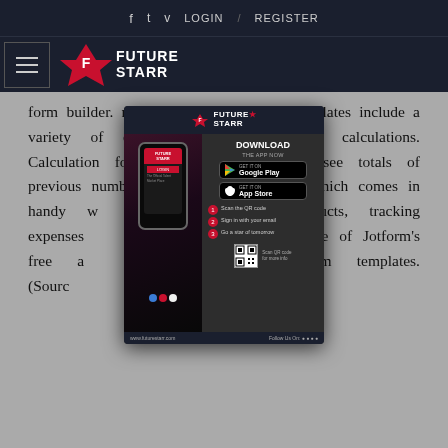f  t  v  LOGIN / REGISTER
[Figure (logo): FutureStarr logo with hamburger menu icon and star logo mark]
form builder. ng.This calculation form templates include a variety of different [popup overlay] tical calculations. Calculation forms [popup overlay] ce to see totals of previous numb [popup overlay] ons -- which comes in handy w [popup overlay] ltiple products, tracking expenses [popup overlay] tarted using one of Jotform's free a [popup overlay] calculation form templates. (Sourc [popup overlay]
[Figure (screenshot): FutureStarr app download popup overlay with logo, phone mockup, DOWNLOAD THE APP NOW text, Google Play and App Store buttons, 3 steps (1. Scan the QR code, 2. Sign in with your email, 3. Go a star of tomorrow), QR code, www.futurestarr.com URL, and Follow Us On social icons]